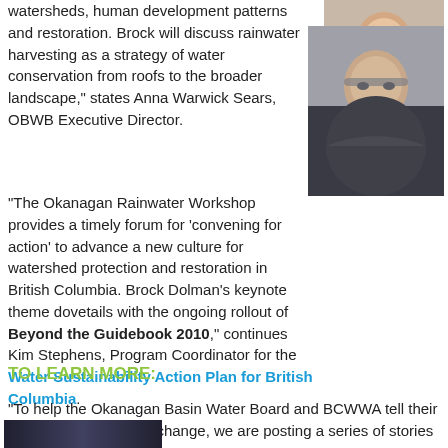watersheds, human development patterns and restoration. Brock will discuss rainwater harvesting as a strategy of water conservation from roofs to the broader landscape," states Anna Warwick Sears, OBWB Executive Director.
[Figure (photo): Portrait photo of a smiling woman]
"The Okanagan Rainwater Workshop provides a timely forum for 'convening for action' to advance a new culture for watershed protection and restoration in British Columbia. Brock Dolman's keynote theme dovetails with the ongoing rollout of Beyond the Guidebook 2010," continues Kim Stephens, Program Coordinator for the Water Sustainability Action Plan for British Columbia.
[Figure (photo): Portrait photo of a man with glasses and dark shirt]
TO LEARN MORE:
"To help the Okanagan Basin Water Board and BCWWA tell their story about managing change, we are posting a series of stories on Water
[Figure (photo): Partial photo at bottom left of page]